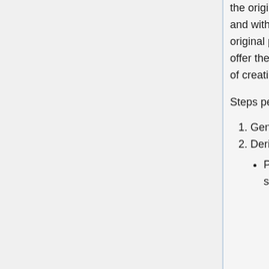the original passphrase and some salt generated by the passphrase's owner, and without knowing the passphrase itself. Only the person who knows the original passphrase can decrypt the private key. This methodology does not offer the ability to encrypt a known private key - this means that the process of creating encrypted keys is also the process of generating new addresses.
Steps performed by the person with the passphrase (call him the owner):
1. Generate 8 random bytes, call this ownersalt
2. Derive a key from the passphrase using scrypt
Parameters: passphrase is the passphrase itself encoded in UTF-8. salt is ownersalt.